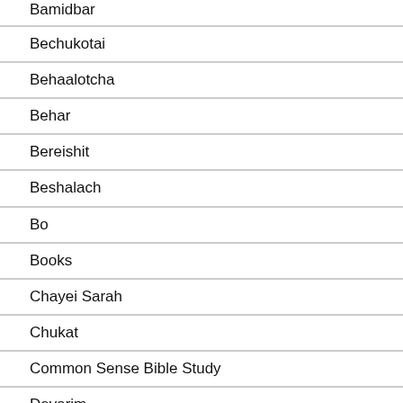Bamidbar
Bechukotai
Behaalotcha
Behar
Bereishit
Beshalach
Bo
Books
Chayei Sarah
Chukat
Common Sense Bible Study
Devarim